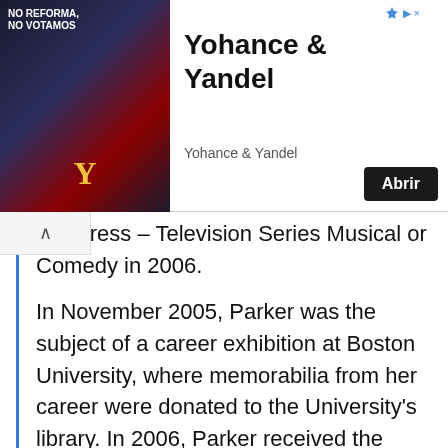[Figure (other): Advertisement banner for Yohance & Yandel with album artwork showing two figures in dark background with 'NO REFORMA, NO VOTAMOS' text, and an 'Abrir' button]
st Actress – Television Series Musical or Comedy in 2006.
In November 2005, Parker was the subject of a career exhibition at Boston University, where memorabilia from her career were donated to the University's library. In 2006, Parker received the Golden Globe Award for Best Actress – Television Series Musical or Comedy, given by the Hollywood Foreign Press Association, for her lead role in Weeds. In that category, she defeated the four leads of Desperate Housewives. She